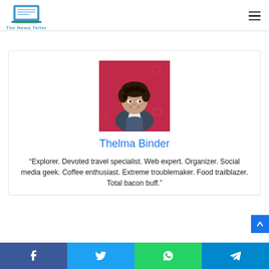The News Teller
[Figure (photo): Portrait photo of Thelma Binder, a young woman with short curly dark hair, smiling, against a red background with social media icons]
Thelma Binder
“Explorer. Devoted travel specialist. Web expert. Organizer. Social media geek. Coffee enthusiast. Extreme troublemaker. Food trailblazer. Total bacon buff.”